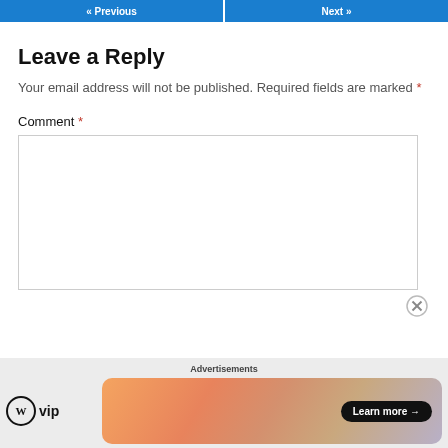« Previous | Next »
Leave a Reply
Your email address will not be published. Required fields are marked *
Comment *
[Figure (screenshot): Large empty comment text area input box with border]
[Figure (screenshot): Advertisements bar at the bottom with WordPress VIP logo and a colorful banner ad with Learn more button]